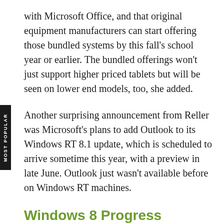with Microsoft Office, and that original equipment manufacturers can start offering those bundled systems by this fall's school year or earlier. The bundled offerings won't just support higher priced tablets but will be seen on lower end models, too, she added.
Another surprising announcement from Reller was Microsoft's plans to add Outlook to its Windows RT 8.1 update, which is scheduled to arrive sometime this year, with a preview in late June. Outlook just wasn't available before on Windows RT machines.
Windows 8 Progress
Windows 8 adoption, in recent months, has been described as being lower than Windows Vista. However, Reller offered some numbers suggesting progress. In May, Microsoft had sold 100 million